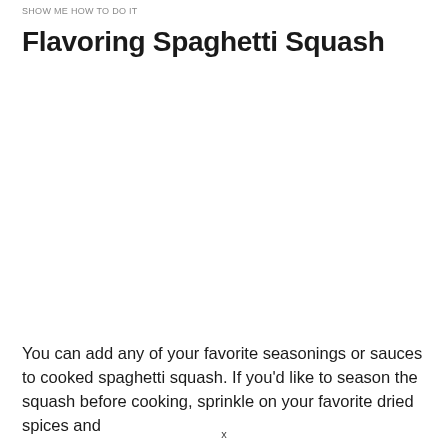SHOW ME HOW TO DO IT
Flavoring Spaghetti Squash
You can add any of your favorite seasonings or sauces to cooked spaghetti squash. If you'd like to season the squash before cooking, sprinkle on your favorite dried spices and
x